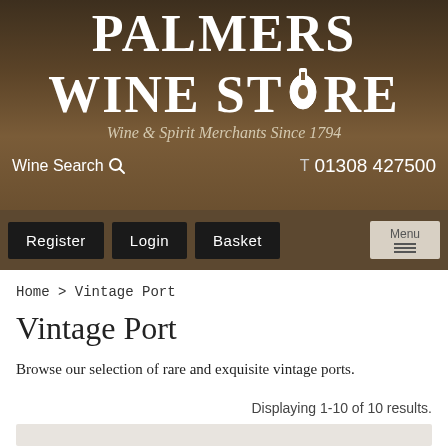[Figure (logo): Palmers Wine Store logo with tagline 'Wine & Spirit Merchants Since 1794' on brown gradient background]
Wine Search
T 01308 427500
Register  Login  Basket  Menu
Home > Vintage Port
Vintage Port
Browse our selection of rare and exquisite vintage ports.
Displaying 1-10 of 10 results.